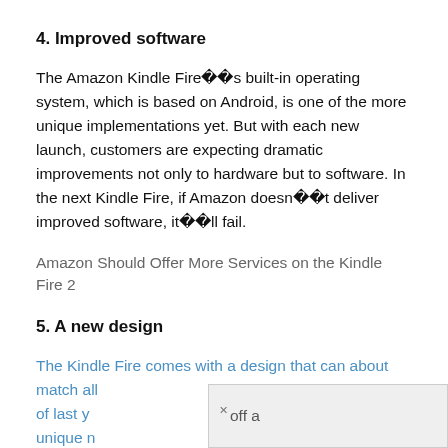4. Improved software
The Amazon Kindle Fireâs built-in operating system, which is based on Android, is one of the more unique implementations yet. But with each new launch, customers are expecting dramatic improvements not only to hardware but to software. In the next Kindle Fire, if Amazon doesnât deliver improved software, itâll fail.
Amazon Should Offer More Services on the Kindle Fire 2
5. A new design
The Kindle Fire comes with a design that can about match all of last y                    off a unique n